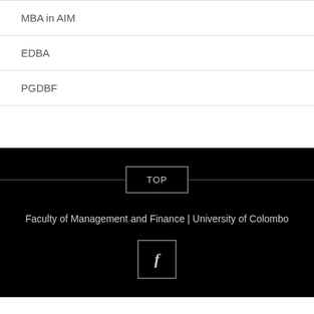MBA in AIM
EDBA
PGDBF
TOP
Faculty of Management and Finance | University of Colombo